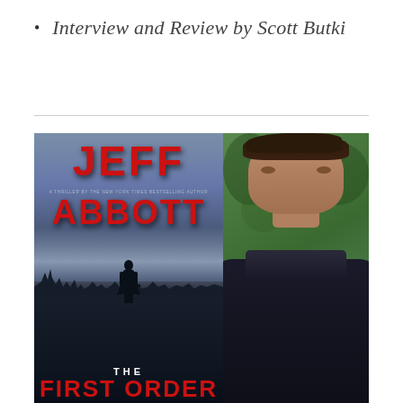Interview and Review by Scott Butki
[Figure (photo): Book cover of 'The First Order' by Jeff Abbott, a thriller by the New York Times bestselling author, showing a dark silhouetted figure standing with a gun against a misty cityscape background with red title text]
[Figure (photo): Author photo of Jeff Abbott, a dark-haired man in a dark shirt against a green leafy background]